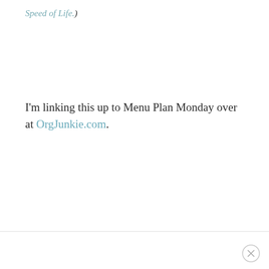Speed of Life.)
I'm linking this up to Menu Plan Monday over at OrgJunkie.com.